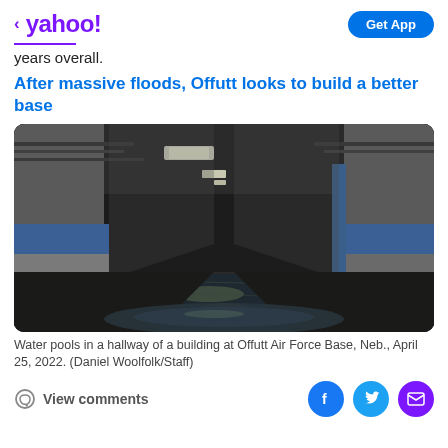< yahoo!   Get App
years overall.
After massive floods, Offutt looks to build a better base
[Figure (photo): Water pooling in a long hallway of a building at Offutt Air Force Base. The corridor has white and blue painted walls, exposed pipes on the ceiling, fluorescent lighting, and standing water reflecting the scene.]
Water pools in a hallway of a building at Offutt Air Force Base, Neb., April 25, 2022. (Daniel Woolfolk/Staff)
View comments